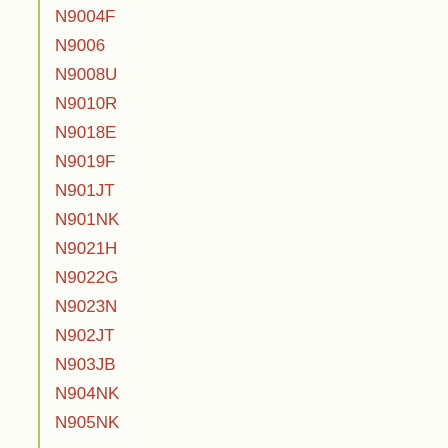N9004F
N9006
N9008U
N9010R
N9018E
N9019F
N901JT
N901NK
N9021H
N9022G
N9023N
N902JT
N903JB
N904NK
N905NK